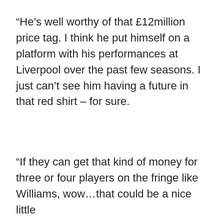“He’s well worthy of that £12million price tag. I think he put himself on a platform with his performances at Liverpool over the past few seasons. I just can’t see him having a future in that red shirt – for sure.
“If they can get that kind of money for three or four players on the fringe like Williams, wow…that could be a nice little